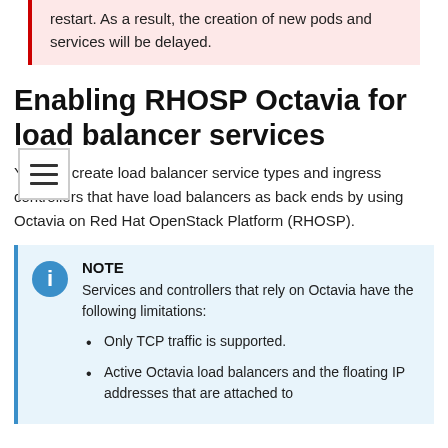restart. As a result, the creation of new pods and services will be delayed.
Enabling RHOSP Octavia for load balancer services
You can create load balancer service types and ingress controllers that have load balancers as back ends by using Octavia on Red Hat OpenStack Platform (RHOSP).
NOTE
Services and controllers that rely on Octavia have the following limitations:
Only TCP traffic is supported.
Active Octavia load balancers and the floating IP addresses that are attached to